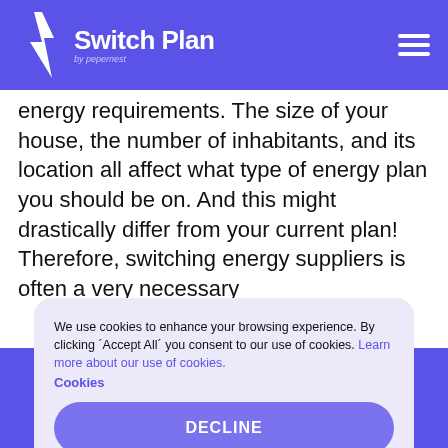Switch Plan by pepernest
energy requirements. The size of your house, the number of inhabitants, and its location all affect what type of energy plan you should be on. And this might drastically differ from your current plan! Therefore, switching energy suppliers is often a very necessary
We use cookies to enhance your browsing experience. By clicking ´Accept All´ you consent to our use of cookies. Learn more about our use of cookies.
Cookies
DECLINE
ACCEPT
We call you back